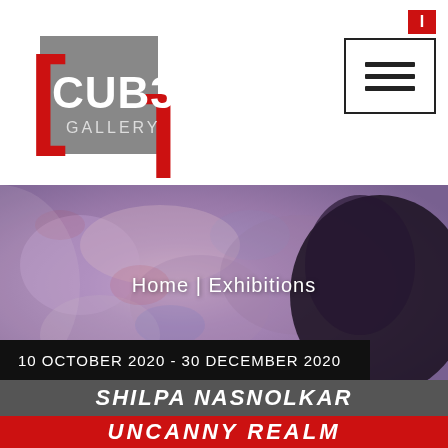[Figure (logo): CUBE Gallery logo with red bracket characters surrounding a gray square with CUB3 text and GALLERY beneath]
[Figure (other): Navigation menu icon: red badge with letter I on top right, and a bordered box with three horizontal bars (hamburger menu) below]
[Figure (photo): Exhibition banner image with abstract purplish/mauve painting and dark silhouette figure on the right]
Home | Exhibitions
10 OCTOBER 2020 - 30 DECEMBER 2020
SHILPA NASNOLKAR
UNCANNY REALM